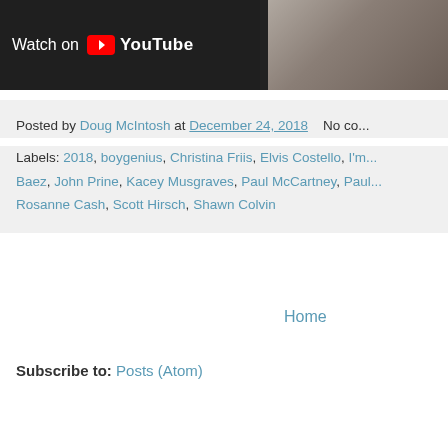[Figure (screenshot): YouTube video embed with 'Watch on YouTube' overlay button on dark background, partial photo visible on right side]
Posted by Doug McIntosh at December 24, 2018   No co...
Labels: 2018, boygenius, Christina Friis, Elvis Costello, I'm... Baez, John Prine, Kacey Musgraves, Paul McCartney, Paul... Rosanne Cash, Scott Hirsch, Shawn Colvin
Home
Subscribe to: Posts (Atom)